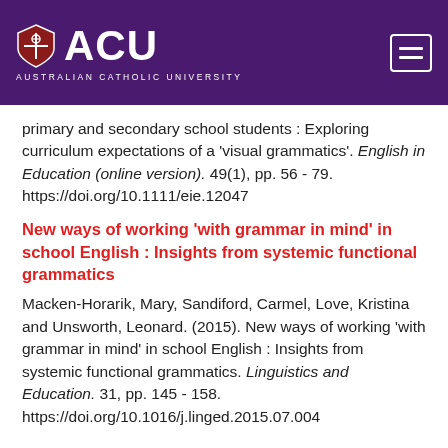[Figure (logo): ACU Australian Catholic University logo and navigation header with purple background]
primary and secondary school students : Exploring curriculum expectations of a 'visual grammatics'. English in Education (online version). 49(1), pp. 56 - 79. https://doi.org/10.1111/eie.12047
New ways of working 'with grammar in mind' in school English : Insights from systemic functional grammatics
Macken-Horarik, Mary, Sandiford, Carmel, Love, Kristina and Unsworth, Leonard. (2015). New ways of working 'with grammar in mind' in school English : Insights from systemic functional grammatics. Linguistics and Education. 31, pp. 145 - 158. https://doi.org/10.1016/j.linged.2015.07.004